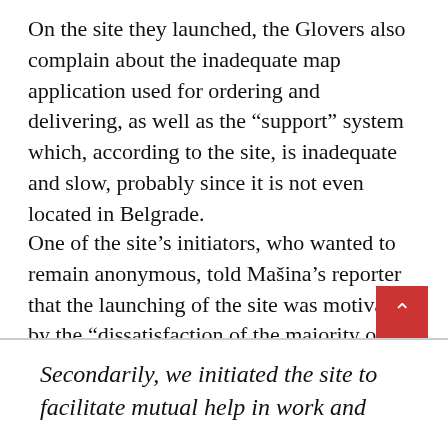On the site they launched, the Glovers also complain about the inadequate map application used for ordering and delivering, as well as the “support” system which, according to the site, is inadequate and slow, probably since it is not even located in Belgrade.
One of the site’s initiators, who wanted to remain anonymous, told Mašina’s reporter that the launching of the site was motivated by the “dissatisfaction of the majority of colleagues with their working conditions and the wish to fight together”.
Secondarily, we initiated the site to facilitate mutual help in work and